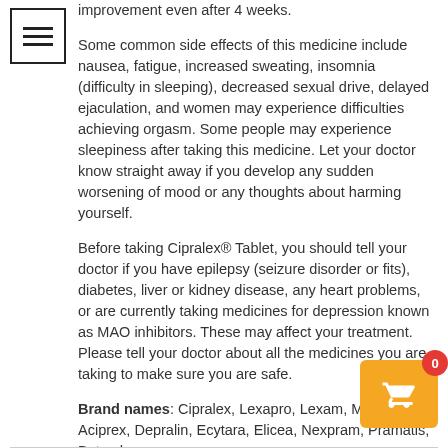[Figure (other): Menu/hamburger icon in a square border, top-left corner]
improvement even after 4 weeks.
Some common side effects of this medicine include nausea, fatigue, increased sweating, insomnia (difficulty in sleeping), decreased sexual drive, delayed ejaculation, and women may experience difficulties achieving orgasm. Some people may experience sleepiness after taking this medicine. Let your doctor know straight away if you develop any sudden worsening of mood or any thoughts about harming yourself.
Before taking Cipralex® Tablet, you should tell your doctor if you have epilepsy (seizure disorder or fits), diabetes, liver or kidney disease, any heart problems, or are currently taking medicines for depression known as MAO inhibitors. These may affect your treatment. Please tell your doctor about all the medicines you are taking to make sure you are safe.
Brand names: Cipralex, Lexapro, Lexam, Mozarin, Aciprex, Depralin, Ecytara, Elicea, Nexpram, Pramatis, Betesda.
[Figure (other): Orange shopping cart widget with red badge showing 0, bottom-right corner]